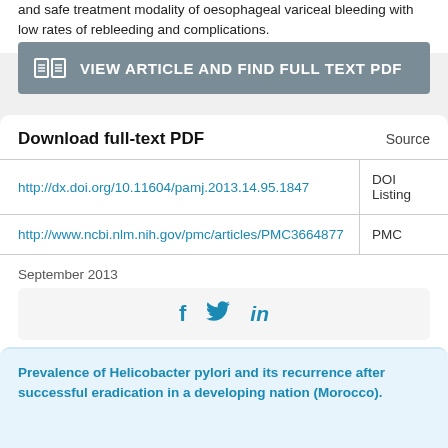and safe treatment modality of oesophageal variceal bleeding with low rates of rebleeding and complications.
[Figure (other): Button: VIEW ARTICLE AND FIND FULL TEXT PDF]
| Download full-text PDF | Source |
| --- | --- |
| http://dx.doi.org/10.11604/pamj.2013.14.95.1847 | DOI Listing |
| http://www.ncbi.nlm.nih.gov/pmc/articles/PMC3664877 | PMC |
September 2013
[Figure (other): Social share icons: Facebook, Twitter, LinkedIn]
Prevalence of Helicobacter pylori and its recurrence after successful eradication in a developing nation (Morocco).